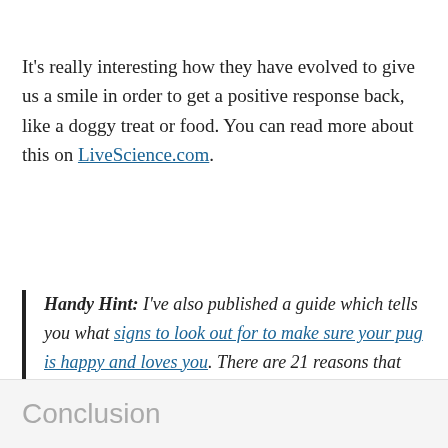It's really interesting how they have evolved to give us a smile in order to get a positive response back, like a doggy treat or food. You can read more about this on LiveScience.com.
Handy Hint: I've also published a guide which tells you what signs to look out for to make sure your pug is happy and loves you. There are 21 reasons that signify happiness.
Conclusion